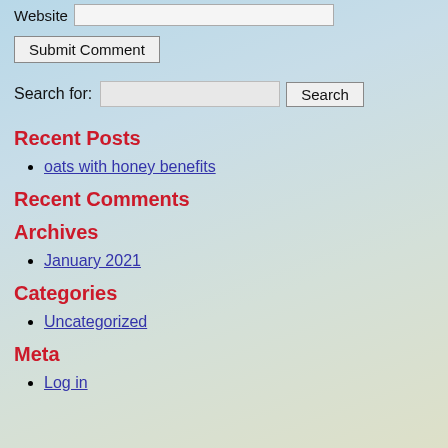Website [input field]
Submit Comment [button]
Search for: [input] Search [button]
Recent Posts
oats with honey benefits
Recent Comments
Archives
January 2021
Categories
Uncategorized
Meta
Log in